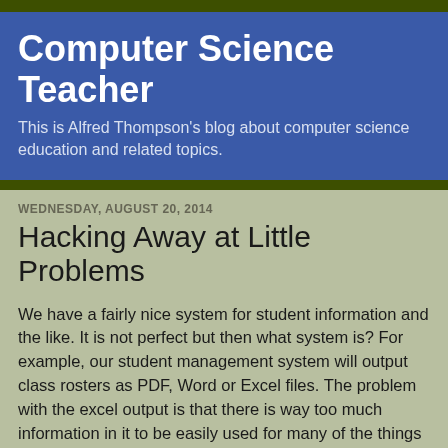Computer Science Teacher
This is Alfred Thompson's blog about computer science education and related topics.
WEDNESDAY, AUGUST 20, 2014
Hacking Away at Little Problems
We have a fairly nice system for student information and the like. It is not perfect but then what system is? For example, our student management system will output class rosters as PDF, Word or Excel files. The problem with the excel output is that there is way too much information in it to be easily used for many of the things teachers want to use it for.
If it were just a matter of extra columns it wouldn't be too bad but there are also extra rows. It is tedious to strip things out. I've done it before but it's just not fun. Writing code on the